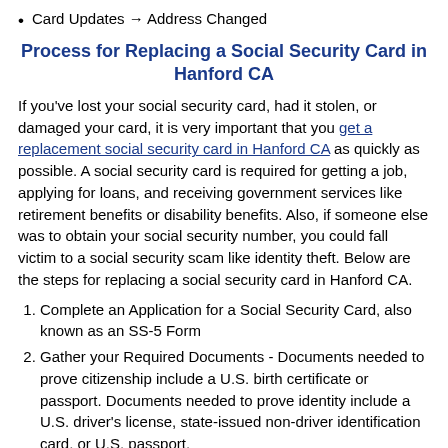Card Updates → Address Changed
Process for Replacing a Social Security Card in Hanford CA
If you've lost your social security card, had it stolen, or damaged your card, it is very important that you get a replacement social security card in Hanford CA as quickly as possible. A social security card is required for getting a job, applying for loans, and receiving government services like retirement benefits or disability benefits. Also, if someone else was to obtain your social security number, you could fall victim to a social security scam like identity theft. Below are the steps for replacing a social security card in Hanford CA.
Complete an Application for a Social Security Card, also known as an SS-5 Form
Gather your Required Documents - Documents needed to prove citizenship include a U.S. birth certificate or passport. Documents needed to prove identity include a U.S. driver's license, state-issued non-driver identification card, or U.S. passport.
Submit your application to your location social security office in person or via mail